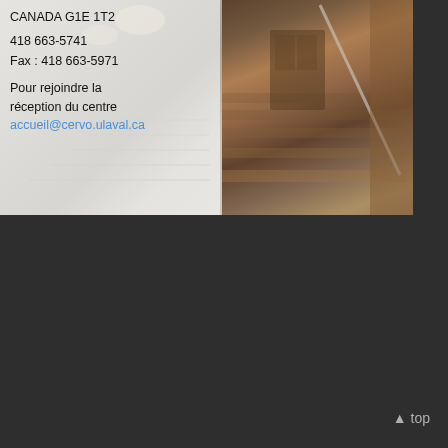[Figure (photo): Interior photo of a building staircase with wooden railings and warm lighting, split into two panels — left panel is lighter/faded, right panel shows the staircase clearly with wood paneling]
CANADA G1E 1T2
418 663-5741
Fax : 418 663-5971
Pour rejoindre la réception du centre
accueil@cervo.ulaval.ca
^ top